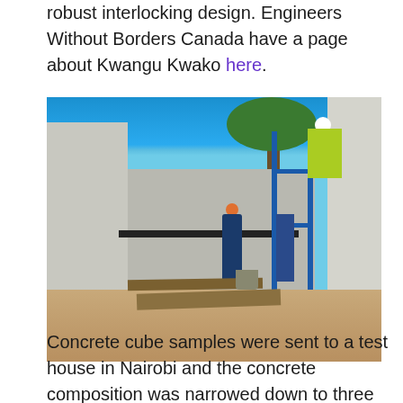robust interlocking design. Engineers Without Borders Canada have a page about Kwangu Kwako here.
[Figure (photo): Construction workers building concrete block walls using scaffolding. Workers visible at different heights, one wearing a yellow safety vest and white hard hat at the top of scaffolding, others at ground level. Clear blue sky visible, with trees in background.]
Concrete cube samples were sent to a test house in Nairobi and the concrete composition was narrowed down to three options which could work in the designs